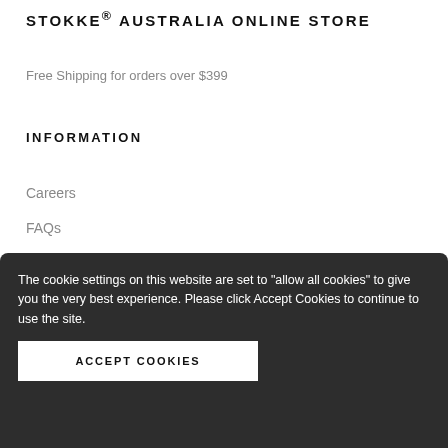STOKKE® AUSTRALIA ONLINE STORE
Free Shipping for orders over $399
INFORMATION
Careers
FAQs
About
Payment Options
The cookie settings on this website are set to "allow all cookies" to give you the very best experience. Please click Accept Cookies to continue to use the site.
ACCEPT COOKIES